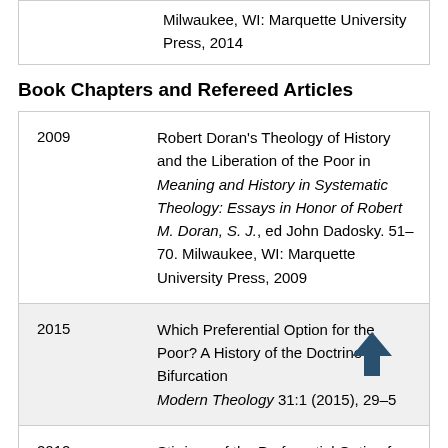Milwaukee, WI: Marquette University Press, 2014
Book Chapters and Refereed Articles
2009 — Robert Doran's Theology of History and the Liberation of the Poor in Meaning and History in Systematic Theology: Essays in Honor of Robert M. Doran, S. J., ed John Dadosky. 51–70. Milwaukee, WI: Marquette University Press, 2009
2015 — Which Preferential Option for the Poor? A History of the Doctrine's Bifurcation Modern Theology 31:1 (2015), 29–5[truncated]
2012 — Stirrings of the Preferential Option for the Poor at Vatican II: The Work of the 'Group of the Church of the Poor'